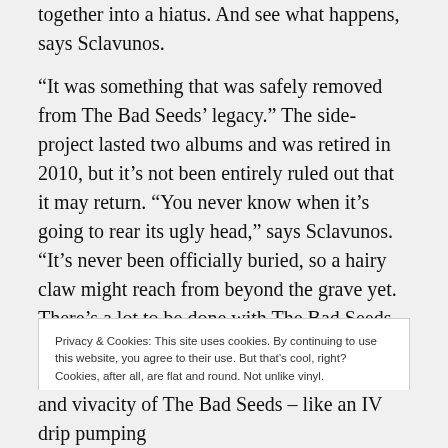together into a hiatus. And see what happens, says Sclavunos.
“It was something that was safely removed from The Bad Seeds’ legacy.” The side-project lasted two albums and was retired in 2010, but it’s not been entirely ruled out that it may return. “You never know when it’s going to rear its ugly head,” says Sclavunos. “It’s never been officially buried, so a hairy claw might reach from beyond the grave yet. There’s a lot to be done with The Bad Seeds and it has to feel right, especially for Nick, as he is always the guy for which everything flows out from.
Privacy & Cookies: This site uses cookies. By continuing to use this website, you agree to their use. But that’s cool, right? Cookies, after all, are flat and round. Not unlike vinyl.
To find out more, including how to control cookies, see here: cookie policy
Accept
and vivacity of The Bad Seeds – like an IV drip pumping